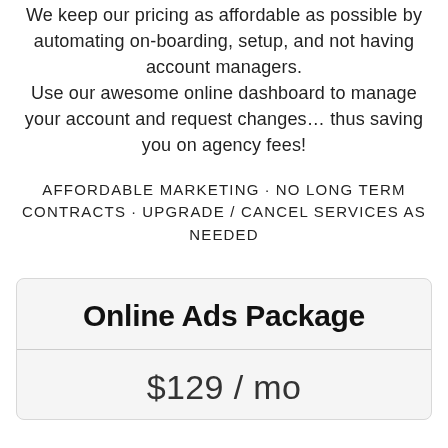We keep our pricing as affordable as possible by automating on-boarding, setup, and not having account managers. Use our awesome online dashboard to manage your account and request changes… thus saving you on agency fees!
AFFORDABLE MARKETING · NO LONG TERM CONTRACTS · UPGRADE / CANCEL SERVICES AS NEEDED
Online Ads Package
$129 / mo